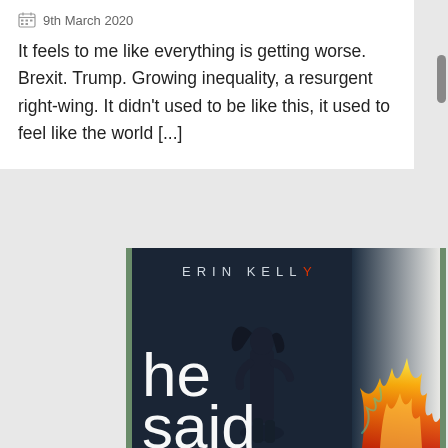9th March 2020
It feels to me like everything is getting worse. Brexit. Trump. Growing inequality, a resurgent right-wing. It didn't used to be like this, it used to feel like the world [...]
[Figure (photo): Book cover of 'He Said She Said' by Erin Kelly — dark background with silhouette of a woman and flames on the right side. Title text 'he said' visible in large white lowercase letters.]